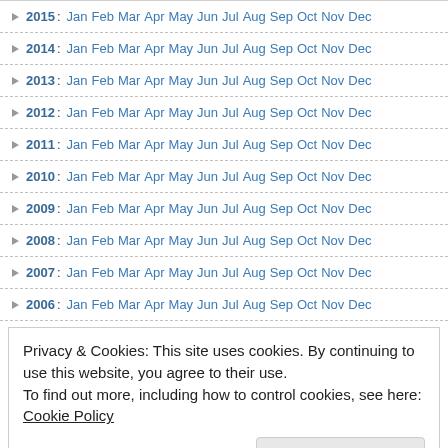2015: Jan Feb Mar Apr May Jun Jul Aug Sep Oct Nov Dec
2014: Jan Feb Mar Apr May Jun Jul Aug Sep Oct Nov Dec
2013: Jan Feb Mar Apr May Jun Jul Aug Sep Oct Nov Dec
2012: Jan Feb Mar Apr May Jun Jul Aug Sep Oct Nov Dec
2011: Jan Feb Mar Apr May Jun Jul Aug Sep Oct Nov Dec
2010: Jan Feb Mar Apr May Jun Jul Aug Sep Oct Nov Dec
2009: Jan Feb Mar Apr May Jun Jul Aug Sep Oct Nov Dec
2008: Jan Feb Mar Apr May Jun Jul Aug Sep Oct Nov Dec
2007: Jan Feb Mar Apr May Jun Jul Aug Sep Oct Nov Dec
2006: Jan Feb Mar Apr May Jun Jul Aug Sep Oct Nov Dec
Privacy & Cookies: This site uses cookies. By continuing to use this website, you agree to their use.
To find out more, including how to control cookies, see here: Cookie Policy
Close and accept
1. PROGRAMS